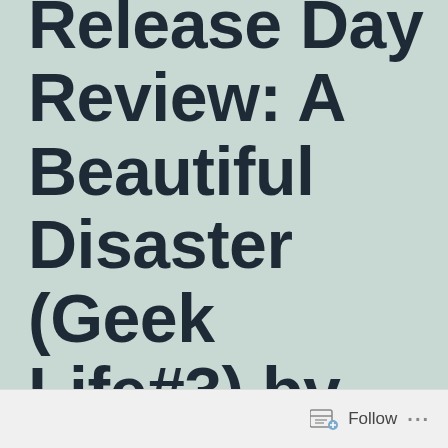Release Day Review: A Beautiful Disaster (Geek Life#3) by Marguerite
[Figure (other): Follow button with icon in footer bar]